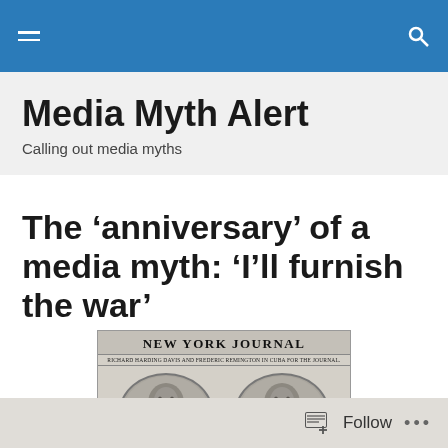Media Myth Alert — navigation bar
Media Myth Alert
Calling out media myths
The ‘anniversary’ of a media myth: ‘I’ll furnish the war’
[Figure (photo): Historical New York Journal newspaper front page showing two oval portrait photographs of Richard Harding Davis and Frederic Remington in Cuba for the Journal]
Follow